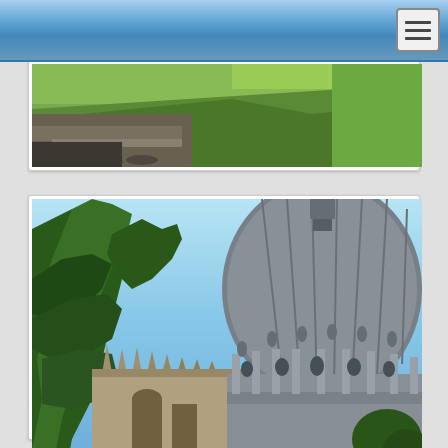Navigation bar with menu button
[Figure (photo): Photograph of a grassy embankment with a concrete/stone bridge or retaining structure at Eton College grounds]
Bridge in Eton College grounds
[Figure (photo): Photograph of a large domed building (Eton College chapel or library dome) with Gothic architecture and trees in foreground against blue sky]